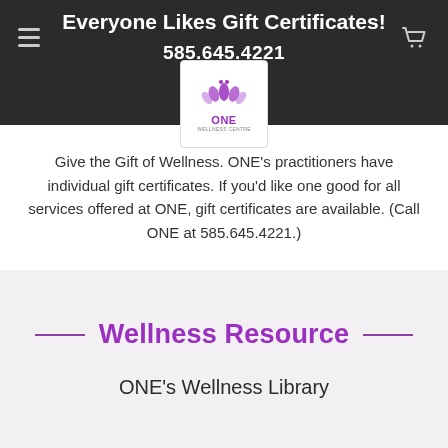Everyone Likes Gift Certificates!
585.645.4221
[Figure (logo): ONE Wellness Centre logo - purple lotus flower with text ONE WELLNESS CENTRE]
Give the Gift of Wellness. ONE's practitioners have individual gift certificates. If you'd like one good for all services offered at ONE, gift certificates are available. (Call ONE at 585.645.4221.)
Wellness Resource
ONE's Wellness Library